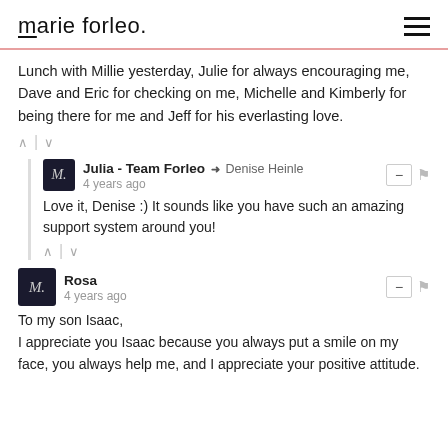marie forleo.
Lunch with Millie yesterday, Julie for always encouraging me, Dave and Eric for checking on me, Michelle and Kimberly for being there for me and Jeff for his everlasting love.
Julia - Team Forleo → Denise Heinle
4 years ago
Love it, Denise :) It sounds like you have such an amazing support system around you!
Rosa
4 years ago
To my son Isaac,
I appreciate you Isaac because you always put a smile on my face, you always help me, and I appreciate your positive attitude.